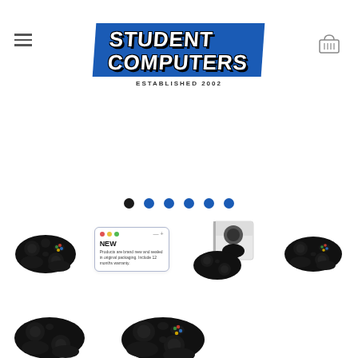[Figure (logo): Student Computers logo with blue diagonal banner, bold white outlined text reading STUDENT COMPUTERS, established 2002]
[Figure (infographic): Carousel navigation dots: one black dot followed by five blue dots]
[Figure (photo): Product listing showing multiple Xbox-style wireless game controllers in black, a NEW condition badge card, and product box packaging]
[Figure (photo): Two additional black wireless game controllers shown from different angles]